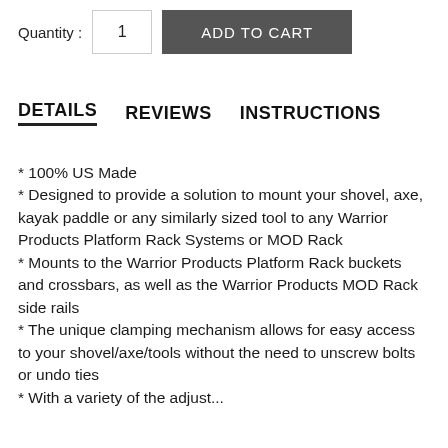Quantity : 1 ADD TO CART
DETAILS   REVIEWS   INSTRUCTIONS
* 100% US Made
* Designed to provide a solution to mount your shovel, axe, kayak paddle or any similarly sized tool to any Warrior Products Platform Rack Systems or MOD Rack
* Mounts to the Warrior Products Platform Rack buckets and crossbars, as well as the Warrior Products MOD Rack side rails
* The unique clamping mechanism allows for easy access to your shovel/axe/tools without the need to unscrew bolts or undo ties
* With a variety of the adjust...